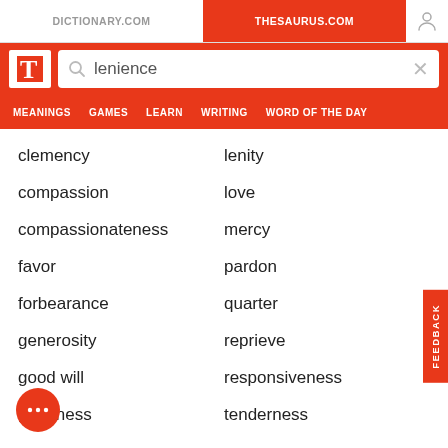DICTIONARY.COM | THESAURUS.COM
lenience (search query)
MEANINGS   GAMES   LEARN   WRITING   WORD OF THE DAY
clemency
lenity
compassion
love
compassionateness
mercy
favor
pardon
forbearance
quarter
generosity
reprieve
good will
responsiveness
goodness
tenderness